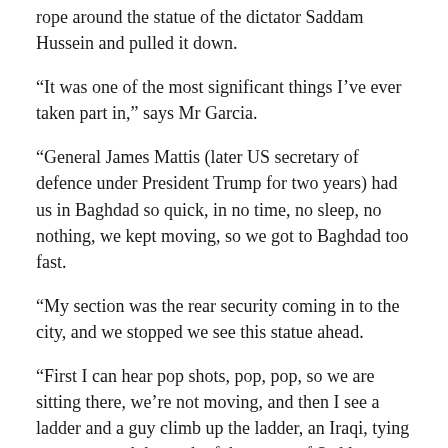rope around the statue of the dictator Saddam Hussein and pulled it down.
“It was one of the most significant things I’ve ever taken part in,” says Mr Garcia.
“General James Mattis (later US secretary of defence under President Trump for two years) had us in Baghdad so quick, in no time, no sleep, no nothing, we kept moving, so we got to Baghdad too fast.
“My section was the rear security coming in to the city, and we stopped we see this statue ahead.
“First I can hear pop shots, pop, pop, so we are sitting there, we’re not moving, and then I see a ladder and a guy climb up the ladder, an Iraqi, tying a rope around the neck of the statue of Saddam.
“So…